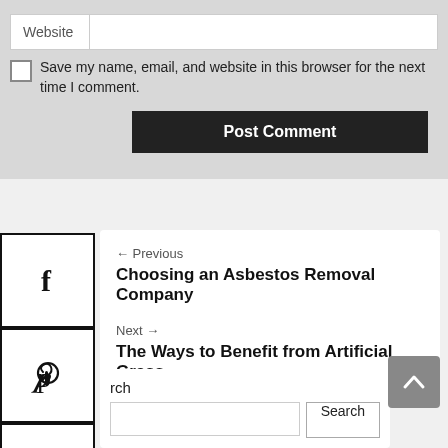Website
Save my name, email, and website in this browser for the next time I comment.
Post Comment
[Figure (screenshot): Social media share icons sidebar: Facebook, Pinterest, Twitter, LinkedIn, Reddit, StumbleUpon]
← Previous
Choosing an Asbestos Removal Company
Next →
The Ways to Benefit from Artificial Grass
rch
Search